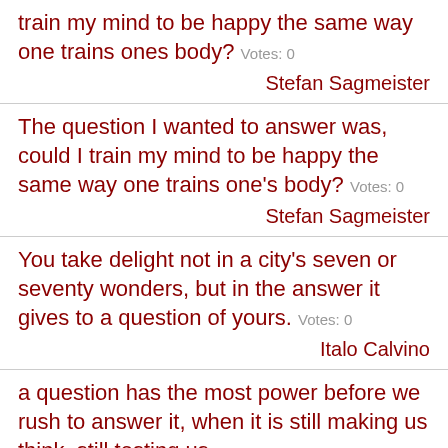train my mind to be happy the same way one trains ones body? Votes: 0
Stefan Sagmeister
The question I wanted to answer was, could I train my mind to be happy the same way one trains one's body? Votes: 0
Stefan Sagmeister
You take delight not in a city's seven or seventy wonders, but in the answer it gives to a question of yours. Votes: 0
Italo Calvino
a question has the most power before we rush to answer it, when it is still making us think, still testing us